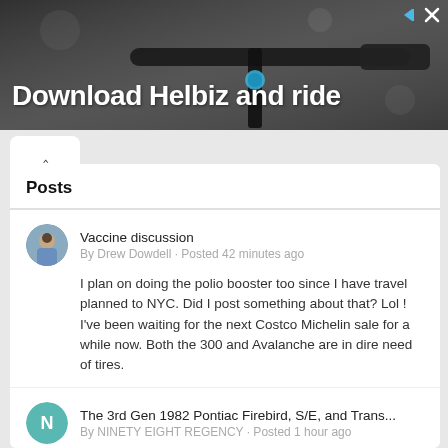[Figure (photo): Advertisement banner showing a scooter/e-bike handlebar with text 'Download Helbiz and ride' on dark blurred background. Ad close/arrow icons in top right.]
Posts
Vaccine discussion
By Drew Dowdell · Posted 42 minutes ago
I plan on doing the polio booster too since I have travel planned to NYC. Did I post something about that? Lol ! I've been waiting for the next Costco Michelin sale for a while now. Both the 300 and Avalanche are in dire need of tires.
The 3rd Gen 1982 Pontiac Firebird, S/E, and Trans...
By NINETY EIGHT REGENCY · Posted 1 hour ago
August 2022 Car Spotting Thread